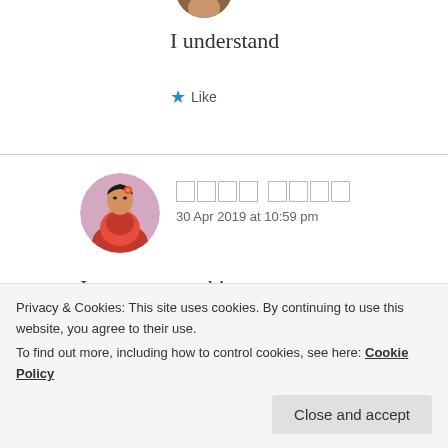[Figure (photo): Circular avatar photo of a person, partially visible at top]
I understand
★ Like
[Figure (photo): Circular avatar photo of a woman in traditional Indian attire]
□□□□ □□□□
30 Apr 2019 at 10:59 pm
I cant say anything.
May i know your best friend name?
Privacy & Cookies: This site uses cookies. By continuing to use this website, you agree to their use.
To find out more, including how to control cookies, see here: Cookie Policy
Close and accept